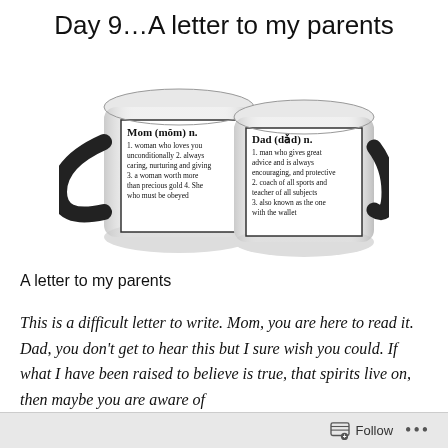Day 9…A letter to my parents
[Figure (photo): Two white coffee mugs with black handles. Left mug: 'Mom (mŏm) n. 1. woman who loves you unconditionally 2. always caring, nurturing and giving 3. a woman worth more than precious gold 4. She who must be obeyed'. Right mug: 'Dad (dăd) n. 1. man who gives great advice and is always encouraging, and protective 2. coach of all sports and teacher of all subjects 3. also known as the one with the wallet']
A letter to my parents
This is a difficult letter to write. Mom, you are here to read it. Dad, you don't get to hear this but I sure wish you could. If what I have been raised to believe is true, that spirits live on, then maybe you are aware of
Follow ...